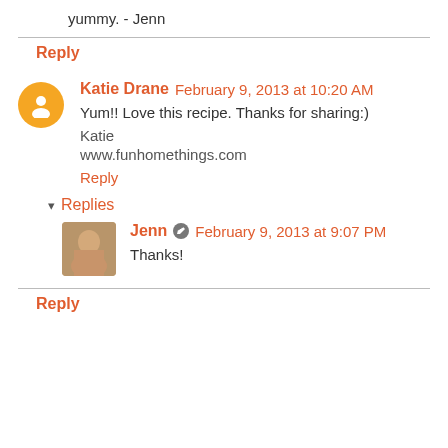yummy. - Jenn
Reply
Katie Drane  February 9, 2013 at 10:20 AM
Yum!! Love this recipe. Thanks for sharing:)
Katie
www.funhomethings.com
Reply
Replies
Jenn  February 9, 2013 at 9:07 PM
Thanks!
Reply